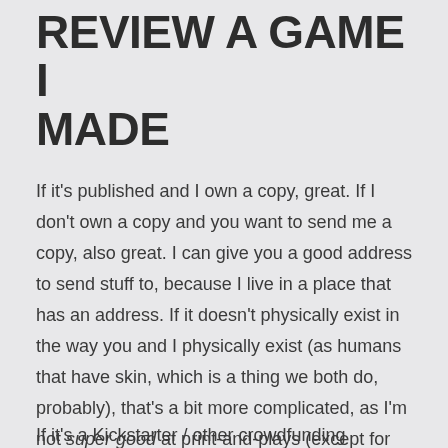REVIEW A GAME I MADE
If it's published and I own a copy, great. If I don't own a copy and you want to send me a copy, also great. I can give you a good address to send stuff to, because I live in a place that has an address. If it doesn't physically exist in the way you and I physically exist (as humans that have skin, which is a thing we both do, probably), that's a bit more complicated, as I'm not super good at print-and-plays (except for Tiny Epic Galaxies and Entropy, which were both totally worth all the paper cuts). I generally won't do print-and-play games, for this reason.
If it's a Kickstarter / other crowdfunding platforms game